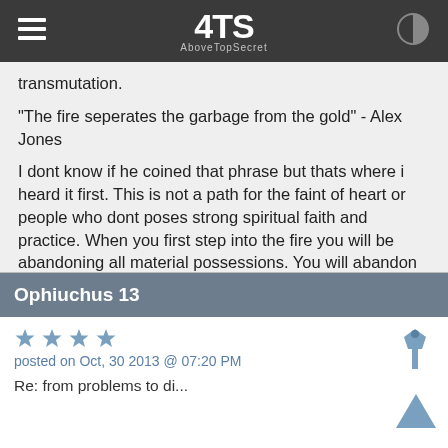ATS AboveTopSecret
transmutation.

"The fire seperates the garbage from the gold" - Alex Jones

I dont know if he coined that phrase but thats where i heard it first. This is not a path for the faint of heart or people who dont poses strong spiritual faith and practice. When you first step into the fire you will be abandoning all material possessions. You will abandon yourself, what you believe is yourself. You will experience true fearlessness and faith for the first time in your life. The spiritual fire will test you.

I am walking through the fire right now.
Ophiuchus 13
posted on Oct, 30 2013 @ 07:20 PM
Re: from problems to di...